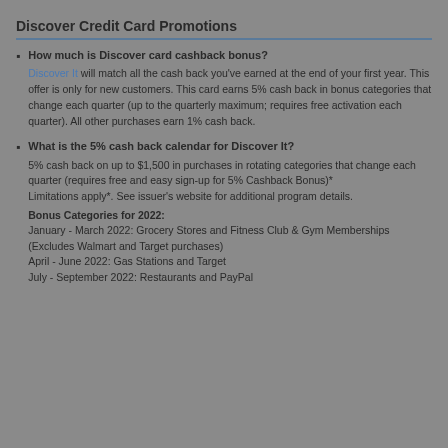Discover Credit Card Promotions
How much is Discover card cashback bonus?
Discover It will match all the cash back you've earned at the end of your first year. This offer is only for new customers. This card earns 5% cash back in bonus categories that change each quarter (up to the quarterly maximum; requires free activation each quarter). All other purchases earn 1% cash back.
What is the 5% cash back calendar for Discover It?
5% cash back on up to $1,500 in purchases in rotating categories that change each quarter (requires free and easy sign-up for 5% Cashback Bonus)*
Limitations apply*. See issuer's website for additional program details.
Bonus Categories for 2022:
January - March 2022: Grocery Stores and Fitness Club & Gym Memberships (Excludes Walmart and Target purchases)
April - June 2022: Gas Stations and Target
July - September 2022: Restaurants and PayPal